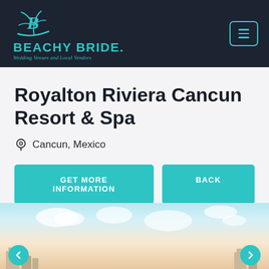[Figure (logo): Beachy Bride logo with teal palm tree and stylized B icon, hamburger menu button top right]
Royalton Riviera Cancun Resort & Spa
Cancun, Mexico
GET MORE INFORMATION   BACK
[Figure (photo): Resort/hotel photo showing a beach scene with blue sky, clouds, buildings in background, with left and right navigation arrows]